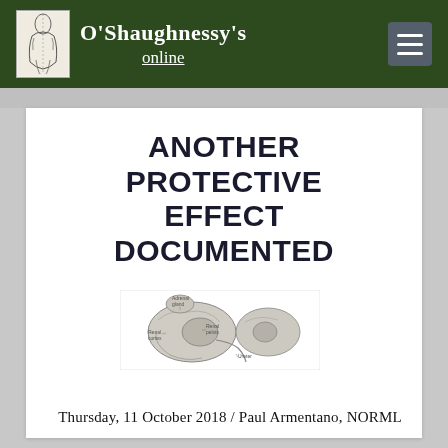O'Shaughnessy's online
ANOTHER PROTECTIVE EFFECT DOCUMENTED
[Figure (illustration): Medical illustration of a kidney with anatomical labels, pencil/grayscale drawing]
Thursday, 11 October 2018 /  Paul Armentano, NORML